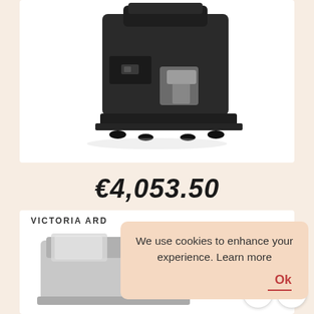[Figure (photo): Black espresso grinder / coffee machine product photo on white background]
€4,053.50
VICTORIA ARD
[Figure (photo): Partial product photo of another espresso machine in silver/chrome]
We use cookies to enhance your experience. Learn more
Ok